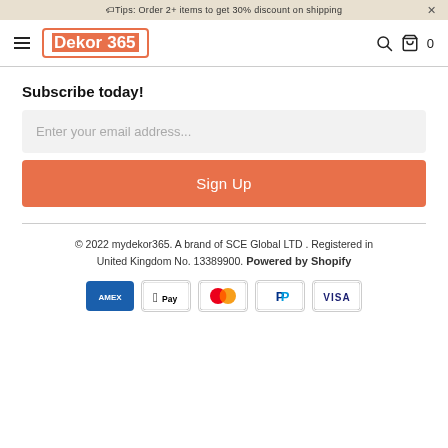🏷Tips: Order 2+ items to get 30% discount on shipping ×
[Figure (logo): Dekor365 logo with hamburger menu, search icon, and cart icon (0 items)]
Subscribe today!
Enter your email address...
Sign Up
© 2022 mydekor365. A brand of SCE Global LTD . Registered in United Kingdom No. 13389900. Powered by Shopify
[Figure (other): Payment icons row: American Express, Apple Pay, Mastercard, PayPal, Visa]